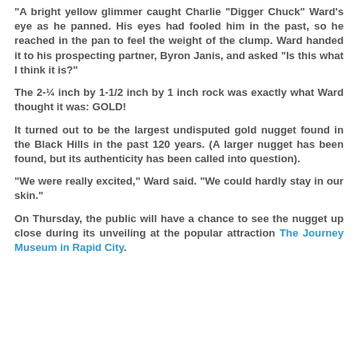"A bright yellow glimmer caught Charlie "Digger Chuck" Ward's eye as he panned. His eyes had fooled him in the past, so he reached in the pan to feel the weight of the clump. Ward handed it to his prospecting partner, Byron Janis, and asked "Is this what I think it is?"
The 2-¼ inch by 1-1/2 inch by 1 inch rock was exactly what Ward thought it was: GOLD!
It turned out to be the largest undisputed gold nugget found in the Black Hills in the past 120 years. (A larger nugget has been found, but its authenticity has been called into question).
"We were really excited," Ward said. "We could hardly stay in our skin."
On Thursday, the public will have a chance to see the nugget up close during its unveiling at the popular attraction The Journey Museum in Rapid City.